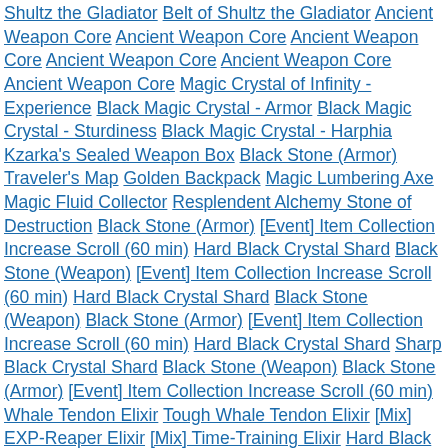Shultz the Gladiator Belt of Shultz the Gladiator Ancient Weapon Core Ancient Weapon Core Ancient Weapon Core Ancient Weapon Core Ancient Weapon Core Ancient Weapon Core Magic Crystal of Infinity - Experience Black Magic Crystal - Armor Black Magic Crystal - Sturdiness Black Magic Crystal - Harphia Kzarka's Sealed Weapon Box Black Stone (Armor) Traveler's Map Golden Backpack Magic Lumbering Axe Magic Fluid Collector Resplendent Alchemy Stone of Destruction Black Stone (Armor) [Event] Item Collection Increase Scroll (60 min) Hard Black Crystal Shard Black Stone (Weapon) [Event] Item Collection Increase Scroll (60 min) Hard Black Crystal Shard Black Stone (Weapon) Black Stone (Armor) [Event] Item Collection Increase Scroll (60 min) Hard Black Crystal Shard Sharp Black Crystal Shard Black Stone (Weapon) Black Stone (Armor) [Event] Item Collection Increase Scroll (60 min) Whale Tendon Elixir Tough Whale Tendon Elixir [Mix] EXP-Reaper Elixir [Mix] Time-Training Elixir Hard Black Crystal Shard Bundle: 3 Sharp Black Crystal Shard Bundle: 3 Hard Black Crystal Shard Sharp Black Crystal Shard Ogre Ring Ogre Ring Ogre Ring Ogre Ring Ogre Ring Ogre Ring Ancient Guardian's Seal Ancient Guardian's Seal Ancient Guardian's Seal Ancient Guardian's Seal Ancient Guardian's Seal Ancient Guardian's Seal Necklace of Shultz the Gladiator Necklace of Shultz the Gladiator Necklace of Shultz the Gladiator Necklace of Shultz the Gladiator Necklace of Shultz the Gladiator Necklace of Shultz the Gladiator Red Coral Earring Red Coral Earring Red Coral Earring Red Coral Earring Red Coral Earring Red Coral Earring